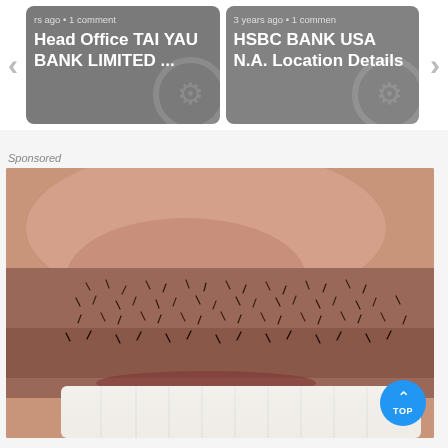[Figure (screenshot): Web page carousel showing two bank-related article cards. Left card: 'rs ago · 1 comment' with title 'Head Office TAI YAU BANK LIMITED ...'. Right card: '3 years ago · 1 comment' with title 'HSBC BANK USA N.A. Location Details'. Left and right navigation arrows visible.]
Sponsored
[Figure (photo): Close-up photo of a man's lower face showing stubble beard and white teeth smiling, used as a sponsored advertisement image.]